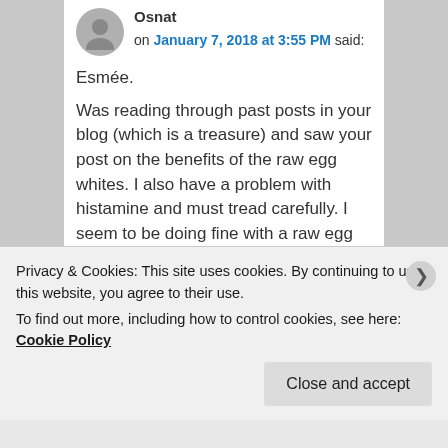Osnat on January 7, 2018 at 3:55 PM said:
Esmée.
Was reading through past posts in your blog (which is a treasure) and saw your post on the benefits of the raw egg whites. I also have a problem with histamine and must tread carefully. I seem to be doing fine with a raw egg yolk at a meal. My question is, would you recommend adding the raw white? Also, if I met, have you tried to
Privacy & Cookies: This site uses cookies. By continuing to use this website, you agree to their use.
To find out more, including how to control cookies, see here: Cookie Policy
Close and accept